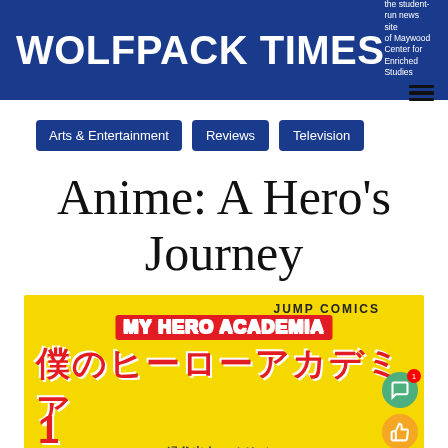WOLFPACK TIMES — the student-run news site of Maywood Center for Enriched Studies
Arts & Entertainment | Reviews | Television
Anime: A Hero's Journey
[Figure (photo): Cover of My Hero Academia manga volume 1, showing Japanese title 僕のヒーローアカデミア, MY HERO ACADEMIA logo in red, JUMP COMICS label at top right, yellow background with character artwork. Page also shows green chat bubble and orange thumbs-up UI overlay buttons.]